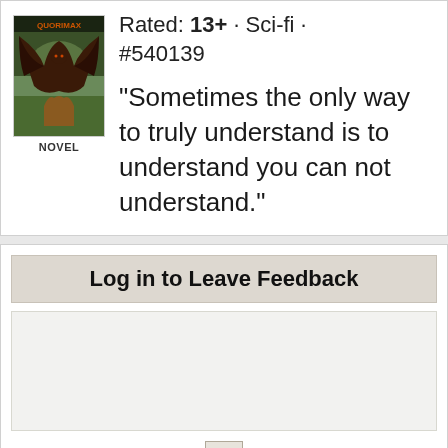[Figure (illustration): Book cover image for a Sci-fi novel titled QUORIMAX showing a dark winged creature]
NOVEL
Rated: 13+ · Sci-fi · #540139
"Sometimes the only way to truly understand is to understand you can not understand."
Log in to Leave Feedback